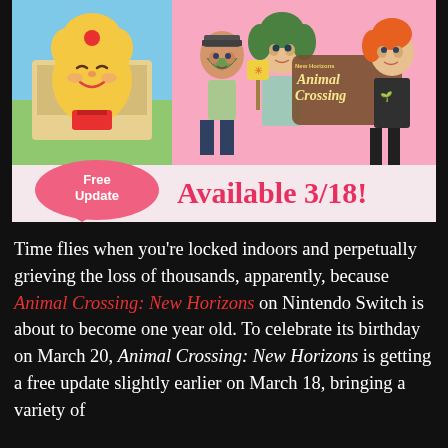[Figure (screenshot): Animal Crossing: New Horizons promotional image showing Isabelle character on the left against a blue-sky background, and three player characters on the right against a pink background, with the Animal Crossing New Horizons logo. A banner at the bottom shows a pink speech bubble saying 'Free Update' and large pink text saying 'Available 3/18!']
Time flies when you're locked indoors and perpetually grieving the loss of thousands, apparently, because Animal Crossing: New Horizons on Nintendo Switch is about to become one year old. To celebrate its birthday on March 20, Animal Crossing: New Horizons is getting a free update slightly earlier on March 18, bringing a variety of